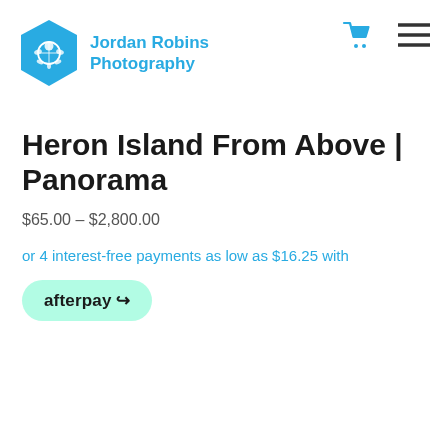[Figure (logo): Jordan Robins Photography logo: teal hexagon with turtle icon and brand name]
[Figure (other): Shopping cart icon in teal]
[Figure (other): Hamburger menu icon (three horizontal lines)]
Heron Island From Above | Panorama
$65.00 – $2,800.00
or 4 interest-free payments as low as $16.25 with
[Figure (logo): Afterpay logo badge on mint green rounded rectangle background]